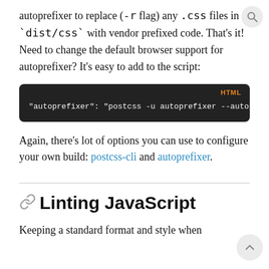autoprefixer to replace (-r flag) any .css files in `dist/css` with vendor prefixed code. That's it! Need to change the default browser support for autoprefixer? It's easy to add to the script:
[Figure (screenshot): Dark code block with orange 'HTML' label in top right. Code text: "autoprefixer": "postcss -u autoprefixer --autoprefixer.]
Again, there's lot of options you can use to configure your own build: postcss-cli and autoprefixer.
Linting JavaScript
Keeping a standard format and style when